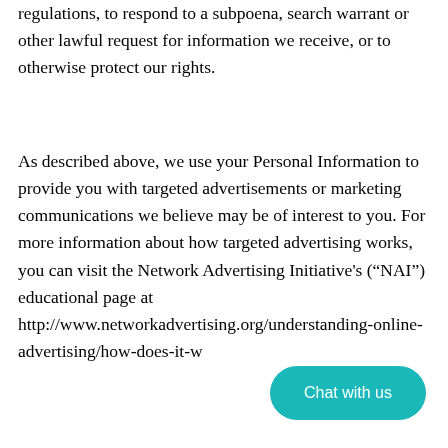regulations, to respond to a subpoena, search warrant or other lawful request for information we receive, or to otherwise protect our rights.
As described above, we use your Personal Information to provide you with targeted advertisements or marketing communications we believe may be of interest to you. For more information about how targeted advertising works, you can visit the Network Advertising Initiative's (“NAI”) educational page at http://www.networkadvertising.org/understanding-online-advertising/how-does-it-w